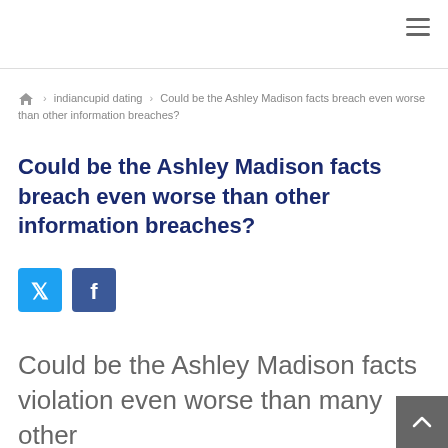≡
🏠 › indiancupid dating › Could be the Ashley Madison facts breach even worse than other information breaches?
Could be the Ashley Madison facts breach even worse than other information breaches?
[Figure (other): Twitter and Facebook social share buttons]
Could be the Ashley Madison facts violation even worse than many other